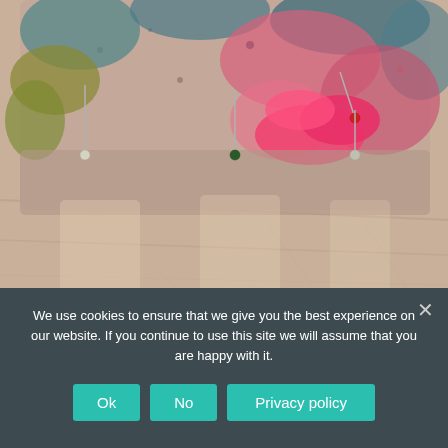[Figure (photo): Close-up photo of colorful wet felted fabric (multicolor with pink, teal, yellow, grey tones) pinned with sewing pins on a wooden surface. The felted piece shows texture and is being pinned down at the edges.]
Wet Felted Pillow cover
We use cookies to ensure that we give you the best experience on our website. If you continue to use this site we will assume that you are happy with it.